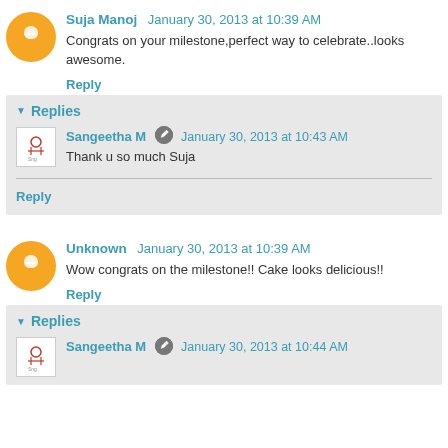Suja Manoj  January 30, 2013 at 10:39 AM
Congrats on your milestone,perfect way to celebrate..looks awesome.
Reply
Replies
Sangeetha M  January 30, 2013 at 10:43 AM
Thank u so much Suja
Reply
Unknown  January 30, 2013 at 10:39 AM
Wow congrats on the milestone!! Cake looks delicious!!
Reply
Replies
Sangeetha M  January 30, 2013 at 10:44 AM